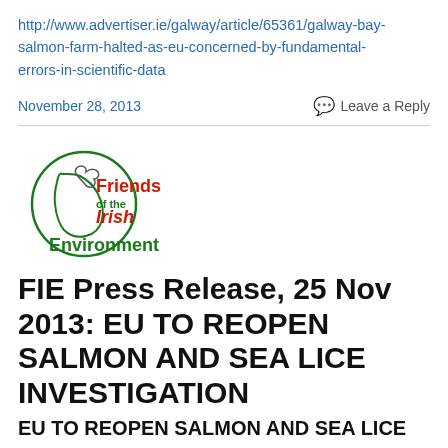http://www.advertiser.ie/galway/article/65361/galway-bay-salmon-farm-halted-as-eu-concerned-by-fundamental-errors-in-scientific-data
November 28, 2013
Leave a Reply
[Figure (logo): Friends of the Irish Environment logo — circular outline of Ireland with a dove, text in red and green]
FIE Press Release, 25 Nov 2013: EU TO REOPEN SALMON AND SEA LICE INVESTIGATION
EU TO REOPEN SALMON AND SEA LICE